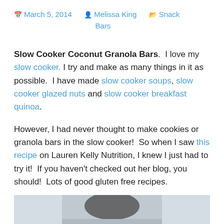March 5, 2014  Melissa King  Snack Bars
Slow Cooker Coconut Granola Bars.  I love my slow cooker. I try and make as many things in it as possible.  I have made slow cooker soups, slow cooker glazed nuts and slow cooker breakfast quinoa.
However, I had never thought to make cookies or granola bars in the slow cooker!  So when I saw this recipe on Lauren Kelly Nutrition, I knew I just had to try it!  If you haven't checked out her blog, you should!  Lots of good gluten free recipes.
[Figure (photo): Partial photo of granola bars, bottom of page]